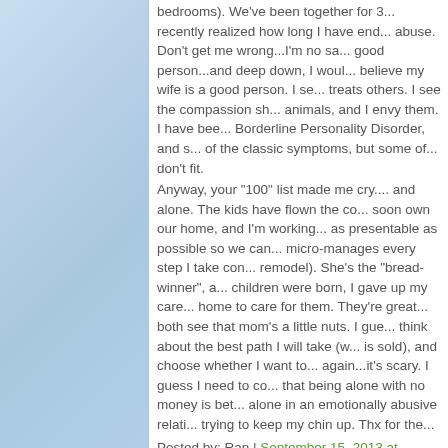bedrooms). We've been together for 3... recently realized how long I have end... abuse. Don't get me wrong...I'm no sa... good person...and deep down, I woul... believe my wife is a good person. I se... treats others. I see the compassion sh... animals, and I envy them. I have bee... Borderline Personality Disorder, and s... of the classic symptoms, but some of... don't fit.
Anyway, your "100" list made me cry.... and alone. The kids have flown the co... soon own our home, and I'm working... as presentable as possible so we can... micro-manages every step I take con... remodel). She's the "bread-winner", a... children were born, I gave up my care... home to care for them. They're great... both see that mom's a little nuts. I gue... think about the best path I will take (w... is sold), and choose whether I want to... again...it's scary. I guess I need to co... that being alone with no money is bet... alone in an emotionally abusive relati... trying to keep my chin up. Thx for the...
Posted by: Ran | September 15, 2013 at...
The comments to this entry are clos...